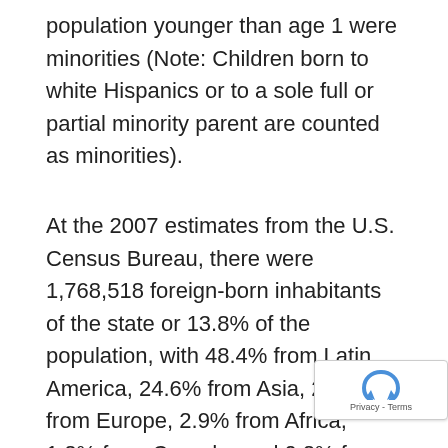population younger than age 1 were minorities (Note: Children born to white Hispanics or to a sole full or partial minority parent are counted as minorities).
At the 2007 estimates from the U.S. Census Bureau, there were 1,768,518 foreign-born inhabitants of the state or 13.8% of the population, with 48.4% from Latin America, 24.6% from Asia, 22.8% from Europe, 2.9% from Africa, 1.2% from Canada, and 0.2% from Oceania. Of the foreign-born population, 43.7% were naturalized U.S. citizens, and 56.3% were not U.S. citizens. In 2007, 6.9% of Illinois's population was reported as being under age 5, 24.9% und age 18 and 12.1% were age 65 and over. Female